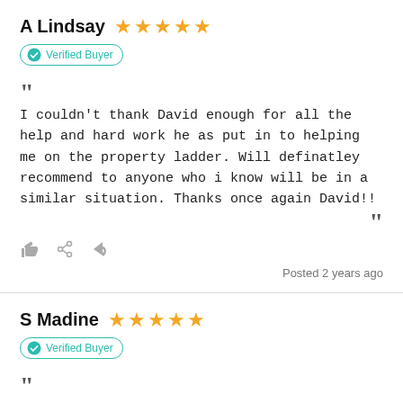A Lindsay ★★★★★
Verified Buyer
I couldn't thank David enough for all the help and hard work he as put in to helping me on the property ladder. Will definatley recommend to anyone who i know will be in a similar situation. Thanks once again David!!
Posted 2 years ago
S Madine ★★★★★
Verified Buyer